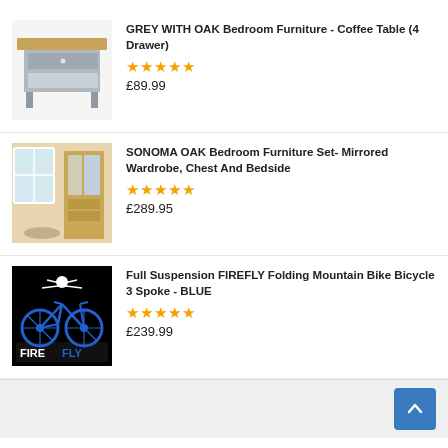[Figure (photo): Grey and oak coffee table with 4 drawers and open shelf]
GREY WITH OAK Bedroom Furniture - Coffee Table (4 Drawer)
★★★★★
£89.99
[Figure (photo): Sonoma oak bedroom furniture set with mirrored wardrobe]
SONOMA OAK Bedroom Furniture Set- Mirrored Wardrobe, Chest And Bedside
★★★★★
£289.95
[Figure (photo): Blue Firefly folding mountain bike with 3 spokes on black background with FIREFLY logo]
Full Suspension FIREFLY Folding Mountain Bike Bicycle 3 Spoke - BLUE
★★★★★
£239.99
FOLLOW US